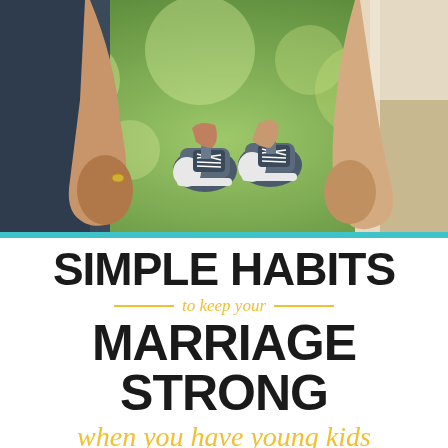[Figure (photo): A couple holding tiny baby sneakers (Converse-style) between them outdoors in a green field. Only their torsos and hands are visible. The man wears dark jeans on the left, the woman wears a floral/lace top on the right. A teal/turquoise horizontal divider bar sits below the photo.]
SIMPLE HABITS to keep your MARRIAGE STRONG when you have young kids